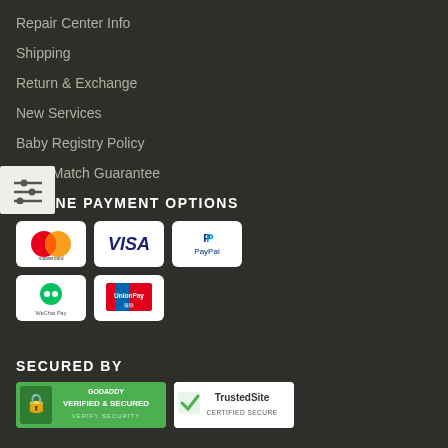Repair Center Info
Shipping
Return & Exchange
New Services
Baby Registry Policy
Price Match Guarantee
ONLINE PAYMENT OPTIONS
[Figure (logo): Mastercard logo]
[Figure (logo): Visa logo]
[Figure (logo): PayPal logo]
[Figure (logo): WeChat Pay logo]
[Figure (logo): UnionPay logo]
SECURED BY
[Figure (logo): GoDaddy Verified & Secured badge]
[Figure (logo): TrustedSite Certified Secure badge]